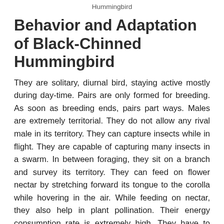Hummingbird
Behavior and Adaptation of Black-Chinned Hummingbird
They are solitary, diurnal bird, staying active mostly during day-time. Pairs are only formed for breeding. As soon as breeding ends, pairs part ways. Males are extremely territorial. They do not allow any rival male in its territory. They can capture insects while in flight. They are capable of capturing many insects in a swarm. In between foraging, they sit on a branch and survey its territory. They can feed on flower nectar by stretching forward its tongue to the corolla while hovering in the air. While feeding on nectar, they also help in plant pollination. Their energy consumption rate is extremely high. They have to feed on short intervals to support its rapid metabolic rate.